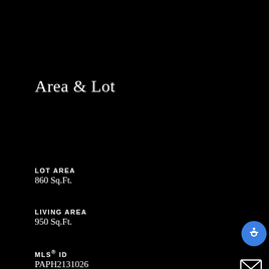Area & Lot
LOT AREA
860 Sq.Ft.
LIVING AREA
950 Sq.Ft.
MLS® ID
PAPH2131026
YEAR BUILT
1920
SCHOOL DISTRICT
THE SCHOOL DISTRICT OF PHILADELPHIA